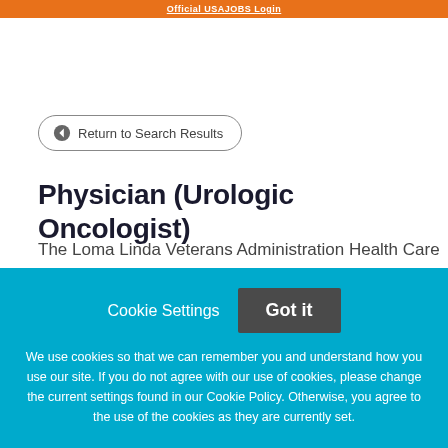Official USAJOBS Login
Return to Search Results
Physician (Urologic Oncologist)
The Loma Linda Veterans Administration Health Care
Cookie Settings   Got it
We use cookies so that we can remember you and understand how you use our site. If you do not agree with our use of cookies, please change the current settings found in our Cookie Policy. Otherwise, you agree to the use of the cookies as they are currently set.